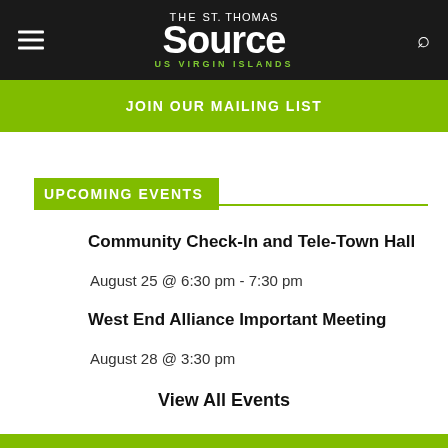THE St. Thomas Source US VIRGIN ISLANDS
JOIN OUR MAILING LIST
UPCOMING EVENTS
Community Check-In and Tele-Town Hall
August 25 @ 6:30 pm - 7:30 pm
West End Alliance Important Meeting
August 28 @ 3:30 pm
View All Events